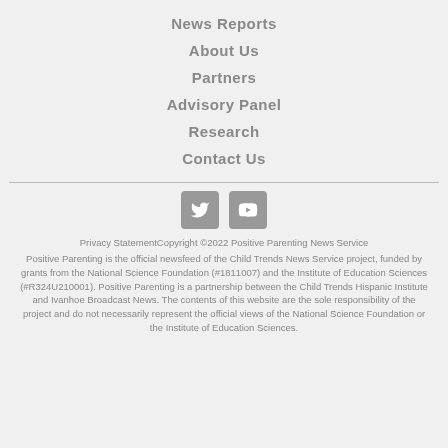News Reports
About Us
Partners
Advisory Panel
Research
Contact Us
[Figure (other): Twitter and YouTube social media icons]
Privacy StatementCopyright ©2022 Positive Parenting News Service
Positive Parenting is the official newsfeed of the Child Trends News Service project, funded by grants from the National Science Foundation (#1811007) and the Institute of Education Sciences (#R324U210001). Positive Parenting is a partnership between the Child Trends Hispanic Institute and Ivanhoe Broadcast News. The contents of this website are the sole responsibility of the project and do not necessarily represent the official views of the National Science Foundation or the Institute of Education Sciences.